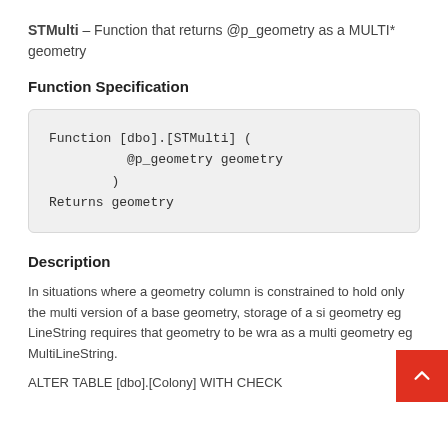STMulti — Function that returns @p_geometry as a MULTI* geometry
Function Specification
Description
In situations where a geometry column is constrained to hold only the multi version of a base geometry, storage of a si geometry eg LineString requires that geometry to be wra as a multi geometry eg MultiLineString.
ALTER TABLE [dbo].[Colony] WITH CHECK